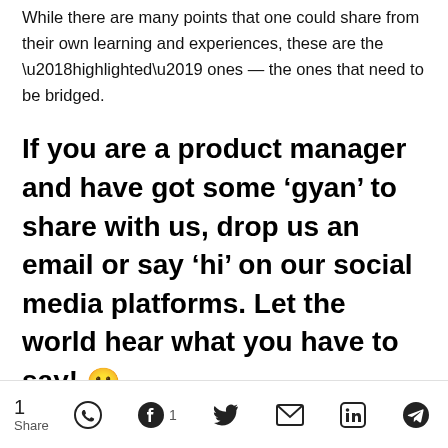While there are many points that one could share from their own learning and experiences, these are the ‘highlighted’ ones — the ones that need to be bridged.
If you are a product manager and have got some ‘gyan’ to share with us, drop us an email or say ‘hi’ on our social media platforms. Let the world hear what you have to say! 🙂
Learn #ProductManagement from experts >>>
1 Share [social share icons: WhatsApp, Facebook 1, Twitter, Email, LinkedIn, Telegram]